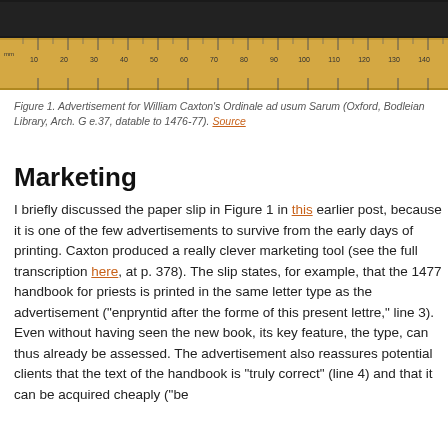[Figure (photo): Photograph of a wooden ruler showing millimeter markings from mm to 140+, with a dark background above it (partial image of a manuscript or document).]
Figure 1. Advertisement for William Caxton's Ordinale ad usum Sarum (Oxford, Bodleian Library, Arch. G e.37, datable to 1476-77). Source
Marketing
I briefly discussed the paper slip in Figure 1 in this earlier post, because it is one of the few advertisements to survive from the early days of printing. Caxton produced a really clever marketing tool (see the full transcription here, at p. 378). The slip states, for example, that the 1477 handbook for priests is printed in the same letter type as the advertisement ("enpryntid after the forme of this present lettre," line 3). Even without having seen the new book, its key feature, the type, can thus already be assessed. The advertisement also reassures potential clients that the text of the handbook is "truly correct" (line 4) and that it can be acquired cheaply ("be